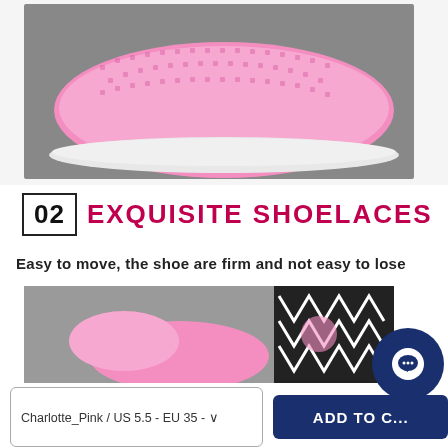[Figure (photo): Close-up photo of a pink knit sneaker showing the textured mesh upper and white sole, on a gray background]
02 EXQUISITE SHOELACES
Easy to move, the shoe are firm and not easy to lose
[Figure (photo): Partial photo showing pink shoe with black lightning bolt pattern fabric/laces detail]
Charlotte_Pink / US 5.5 - EU 35 - ...
ADD TO C...